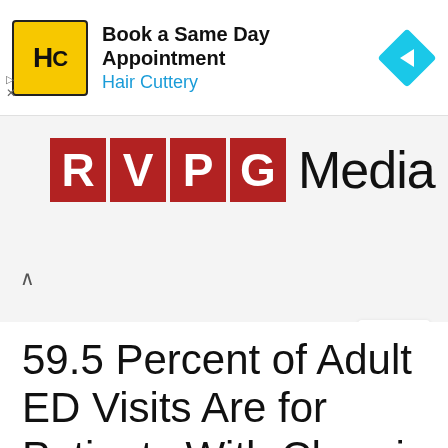[Figure (other): Hair Cuttery advertisement banner with HC logo, 'Book a Same Day Appointment' text, 'Hair Cuttery' in blue, and a blue navigation arrow diamond icon]
[Figure (logo): RVPG Media logo — four red block letters R, V, P, G followed by the word Media in black]
59.5 Percent of Adult ED Visits Are for Patients With Chronic Conditions –